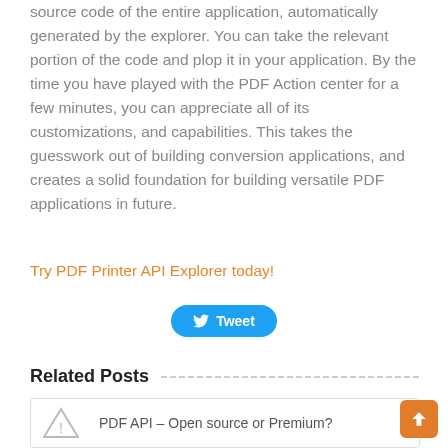source code of the entire application, automatically generated by the explorer. You can take the relevant portion of the code and plop it in your application. By the time you have played with the PDF Action center for a few minutes, you can appreciate all of its customizations, and capabilities. This takes the guesswork out of building conversion applications, and creates a solid foundation for building versatile PDF applications in future.
Try PDF Printer API Explorer today!
[Figure (other): Tweet button with Twitter bird icon]
Related Posts
PDF API – Open source or Premium?
[Figure (other): Warning triangle icon placeholder image]
[Figure (other): Scroll to top button (orange, arrow up)]